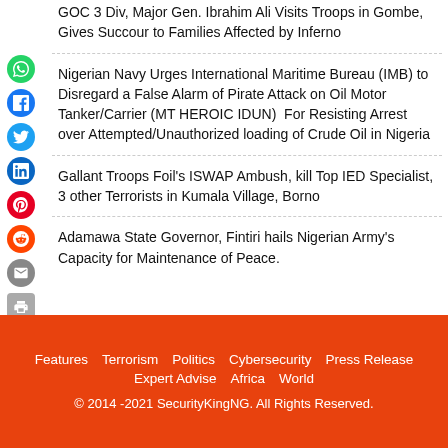GOC 3 Div, Major Gen. Ibrahim Ali Visits Troops in Gombe, Gives Succour to Families Affected by Inferno
Nigerian Navy Urges International Maritime Bureau (IMB) to Disregard a False Alarm of Pirate Attack on Oil Motor Tanker/Carrier (MT HEROIC IDUN)  For Resisting Arrest over Attempted/Unauthorized loading of Crude Oil in Nigeria
Gallant Troops Foil's ISWAP Ambush, kill Top IED Specialist, 3 other Terrorists in Kumala Village, Borno
Adamawa State Governor, Fintiri hails Nigerian Army's Capacity for Maintenance of Peace.
Features   Terrorism   Politics   Cybersecurity   Press Release   Expert Advise   Africa   World
© 2014 -2021 SecurityKingNG. All Rights Reserved.